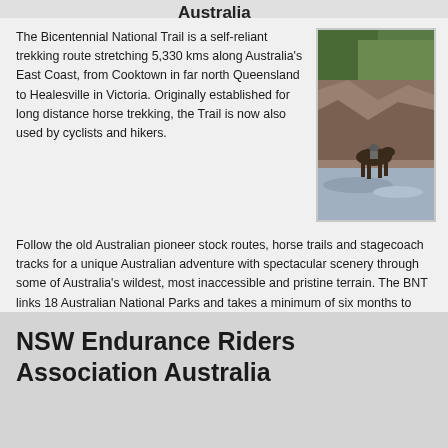The Bicentennial National Trail is a self-reliant trekking route stretching 5,330 kms along Australia's East Coast, from Cooktown in far north Queensland to Healesville in Victoria. Originally established for long distance horse trekking, the Trail is now also used by cyclists and hikers.
[Figure (photo): A person on horseback crossing a rocky stream or riverbed, surrounded by steep terrain and vegetation]
Follow the old Australian pioneer stock routes, horse trails and stagecoach tracks for a unique Australian adventure with spectacular scenery through some of Australia's wildest, most inaccessible and pristine terrain. The BNT links 18 Australian National Parks and takes a minimum of six months to complete the whole trail!
http://www.bicentennialnationaltrail.com.au
NSW Endurance Riders Association Australia